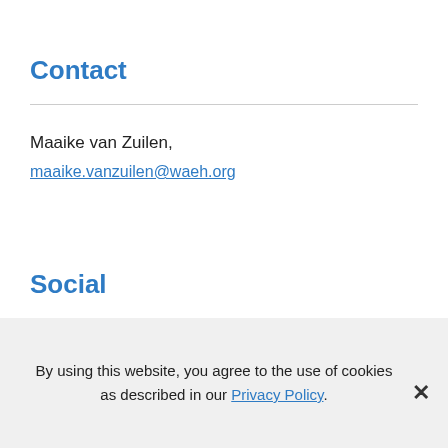Contact
Maaike van Zuilen,
maaike.vanzuilen@waeh.org
Social
By using this website, you agree to the use of cookies as described in our Privacy Policy.